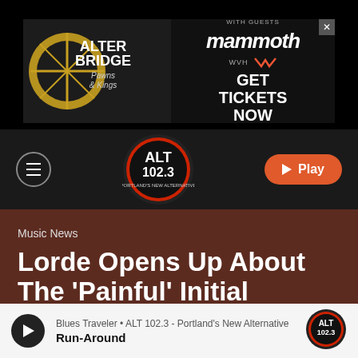[Figure (screenshot): Advertisement banner for Alter Bridge with Mammoth WVH, text: GET TICKETS NOW]
[Figure (logo): ALT 102.3 radio station logo and navigation bar with hamburger menu and Play button]
Music News
Lorde Opens Up About The 'Painful' Initial Response To 'Solar Power'
By  Yashira C.
Blues Traveler • ALT 102.3 - Portland's New Alternative
Run-Around